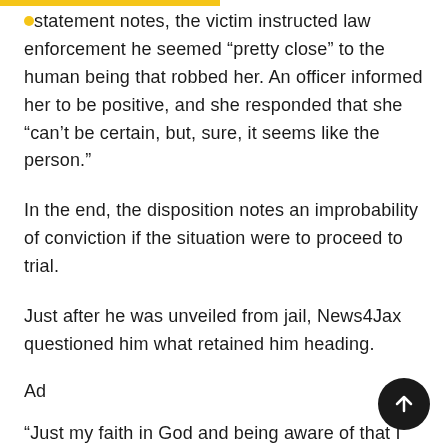statement notes, the victim instructed law enforcement he seemed “pretty close” to the human being that robbed her. An officer informed her to be positive, and she responded that she “can’t be certain, but, sure, it seems like the person.”
In the end, the disposition notes an improbability of conviction if the situation were to proceed to trial.
Just after he was unveiled from jail, News4Jax questioned him what retained him heading.
Ad
“Just my faith in God and being aware of that I have a